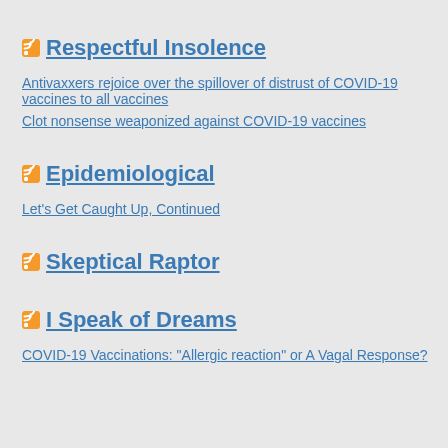Respectful Insolence
Antivaxxers rejoice over the spillover of distrust of COVID-19 vaccines to all vaccines
Clot nonsense weaponized against COVID-19 vaccines
Epidemiological
Let's Get Caught Up, Continued
Skeptical Raptor
I Speak of Dreams
COVID-19 Vaccinations: "Allergic reaction" or A Vagal Response?